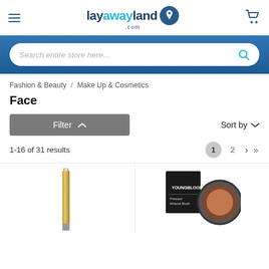[Figure (logo): Layawayland.com logo with hamburger menu and cart icon in site header]
Search entire store here...
Fashion & Beauty / Make Up & Cosmetics
Face
Filter
Sort by
1-16 of 31 results
1  2  >  >>
[Figure (photo): Gold cosmetic pen/highlight stick product image]
[Figure (photo): Youngblood pressed mineral blush compact product image]